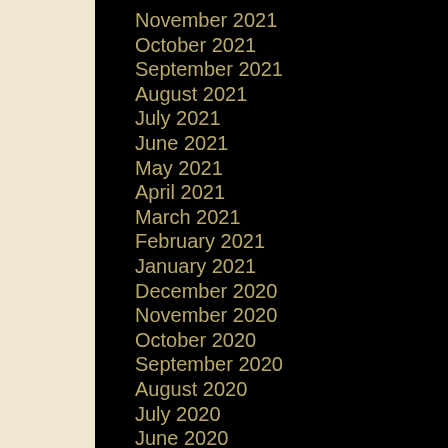November 2021
October 2021
September 2021
August 2021
July 2021
June 2021
May 2021
April 2021
March 2021
February 2021
January 2021
December 2020
November 2020
October 2020
September 2020
August 2020
July 2020
June 2020
May 2020
April 2020
March 2020
February 2020
January 2020